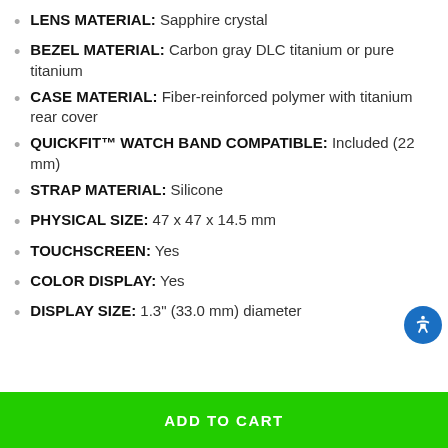LENS MATERIAL: Sapphire crystal
BEZEL MATERIAL: Carbon gray DLC titanium or pure titanium
CASE MATERIAL: Fiber-reinforced polymer with titanium rear cover
QUICKFIT™ WATCH BAND COMPATIBLE: Included (22 mm)
STRAP MATERIAL: Silicone
PHYSICAL SIZE: 47 x 47 x 14.5 mm
TOUCHSCREEN: Yes
COLOR DISPLAY: Yes
DISPLAY SIZE: 1.3" (33.0 mm) diameter
ADD TO CART